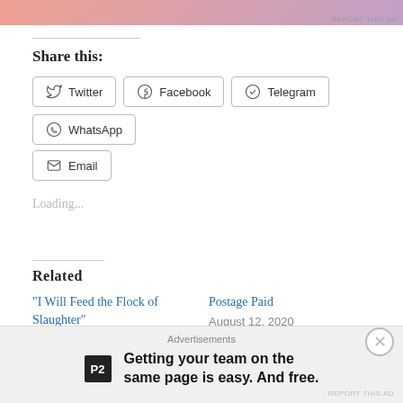[Figure (other): Top advertisement banner with orange-pink to purple gradient]
Share this:
Twitter
Facebook
Telegram
WhatsApp
Email
Loading...
Related
"I Will Feed the Flock of Slaughter"
August 31, 2021
In "Blog post"
Postage Paid
August 12, 2020
In "Blog post"
[Figure (other): Footer advertisement: P2 logo with text 'Getting your team on the same page is easy. And free.']